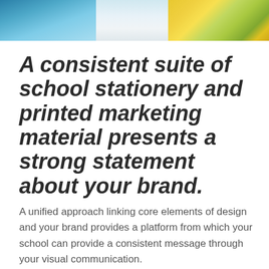[Figure (photo): Collage/strip of printed school stationery and marketing materials including landscape photo, white booklets/brochures, and colorful printed cards with illustrations]
A consistent suite of school stationery and printed marketing material presents a strong statement about your brand.
A unified approach linking core elements of design and your brand provides a platform from which your school can provide a consistent message through your visual communication.